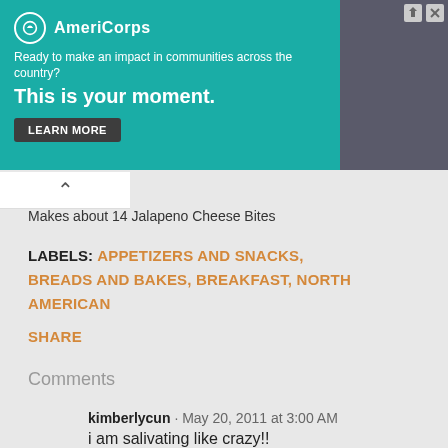[Figure (screenshot): AmeriCorps advertisement banner. Green background on left with white text: 'AmeriCorps', 'Ready to make an impact in communities across the country?', 'This is your moment.' with a LEARN MORE button. Photo of a person on the right.]
Makes about 14 Jalapeno Cheese Bites
LABELS: APPETIZERS AND SNACKS, BREADS AND BAKES, BREAKFAST, NORTH AMERICAN
SHARE
Comments
kimberlycun · May 20, 2011 at 3:00 AM
i am salivating like crazy!!
REPLY